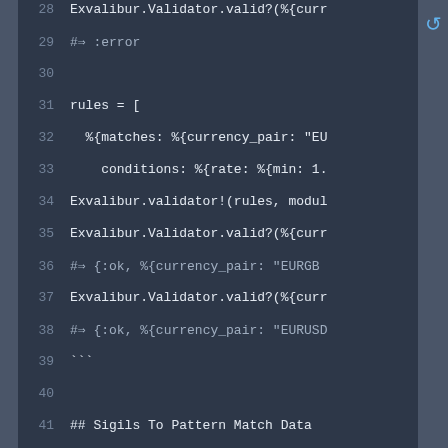[Figure (screenshot): Code editor screenshot showing Elixir code lines 28-49 with dark background. Lines include Exvalibur.Validator calls, rules definition with currency_pair and conditions, and a section header '## Sigils To Pattern Match Data' followed by descriptive text and start of a code block with import Exvalibur.Sigils.]